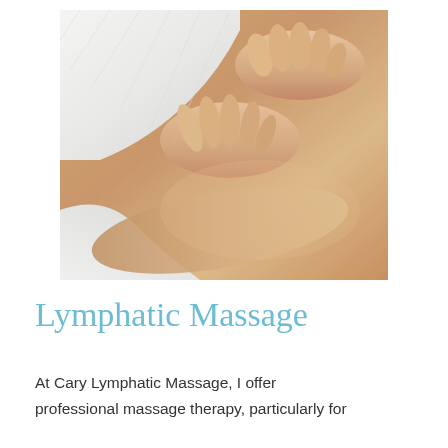[Figure (photo): Close-up photo of a massage therapist's hands performing a back massage on a patient lying on a table covered with white towels. The therapist's hands are pressing on the patient's bare back.]
Lymphatic Massage
At Cary Lymphatic Massage, I offer professional massage therapy, particularly for